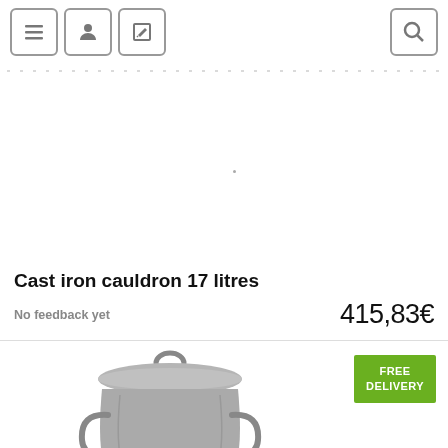Navigation bar with menu, user, edit, and search icons
[Figure (photo): Empty white product image area for cast iron cauldron]
Cast iron cauldron 17 litres
No feedback yet
415,83€
[Figure (photo): Cast iron cauldron with lid visible in bottom portion of page, with FREE DELIVERY badge]